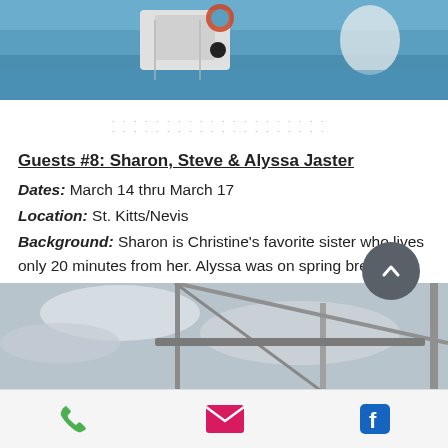[Figure (photo): Top portion of a person on a boat on blue water, partial view]
Guests #8:  Sharon, Steve & Alyssa Jaster
Dates: March 14 thru March 17
Location: St. Kitts/Nevis
Background:  Sharon is Christine's favorite sister who lives only 20 minutes from her. Alyssa was on spring break from Choate Rosemary Hall.  Steve is the sneaky master of Settler's of Catan game, which we played multiple times.
[Figure (photo): Bottom partial photo showing boat structure/mast against cloudy sky]
Phone | Email | Facebook icons